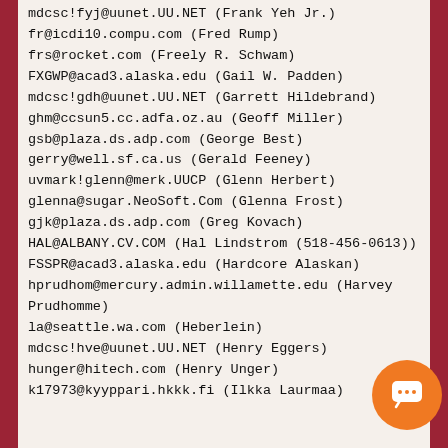mdcsc!fyj@uunet.UU.NET (Frank Yeh Jr.)
fr@icdi10.compu.com (Fred Rump)
frs@rocket.com (Freely R. Schwam)
FXGWP@acad3.alaska.edu (Gail W. Padden)
mdcsc!gdh@uunet.UU.NET (Garrett Hildebrand)
ghm@ccsun5.cc.adfa.oz.au (Geoff Miller)
gsb@plaza.ds.adp.com (George Best)
gerry@well.sf.ca.us (Gerald Feeney)
uvmark!glenn@merk.UUCP (Glenn Herbert)
glenna@sugar.NeoSoft.Com (Glenna Frost)
gjk@plaza.ds.adp.com (Greg Kovach)
HAL@ALBANY.CV.COM (Hal Lindstrom (518-456-0613))
FSSPR@acad3.alaska.edu (Hardcore Alaskan)
hprudhom@mercury.admin.willamette.edu (Harvey Prudhomme)
la@seattle.wa.com (Heberlein)
mdcsc!hve@uunet.UU.NET (Henry Eggers)
hunger@hitech.com (Henry Unger)
k17973@kyyppari.hkkk.fi (Ilkka Laurmaa)